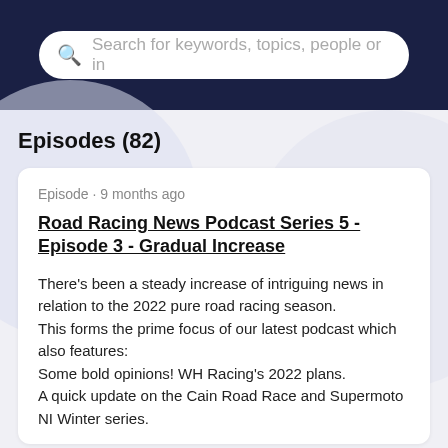Search for keywords, topics, people or in
Episodes (82)
Episode · 9 months ago
Road Racing News Podcast Series 5 - Episode 3 - Gradual Increase
There's been a steady increase of intriguing news in relation to the 2022 pure road racing season.
This forms the prime focus of our latest podcast which also features:
Some bold opinions! WH Racing's 2022 plans.
A quick update on the Cain Road Race and Supermoto NI Winter series.